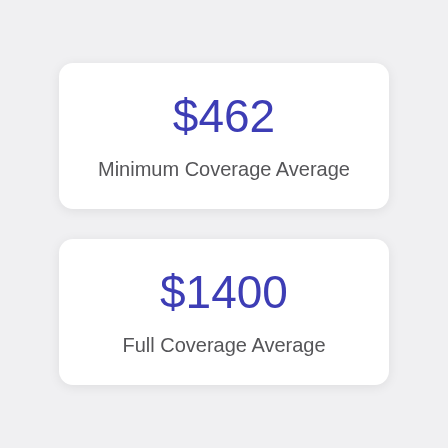$462
Minimum Coverage Average
$1400
Full Coverage Average